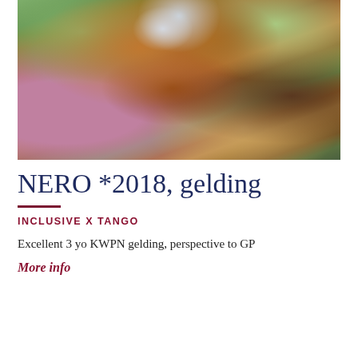[Figure (photo): Close-up photograph of a bay horse wearing a bridle, photographed outdoors among green foliage and pink flowers with blurred background]
NERO *2018, gelding
INCLUSIVE x TANGO
Excellent 3 yo KWPN gelding, perspective to GP
More info